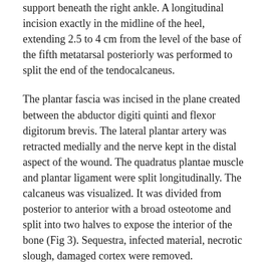support beneath the right ankle. A longitudinal incision exactly in the midline of the heel, extending 2.5 to 4 cm from the level of the base of the fifth metatarsal posteriorly was performed to split the end of the tendocalcaneus.
The plantar fascia was incised in the plane created between the abductor digiti quinti and flexor digitorum brevis. The lateral plantar artery was retracted medially and the nerve kept in the distal aspect of the wound. The quadratus plantae muscle and plantar ligament were split longitudinally. The calcaneus was visualized. It was divided from posterior to anterior with a broad osteotome and split into two halves to expose the interior of the bone (Fig 3). Sequestra, infected material, necrotic slough, damaged cortex were removed.
The caldu...